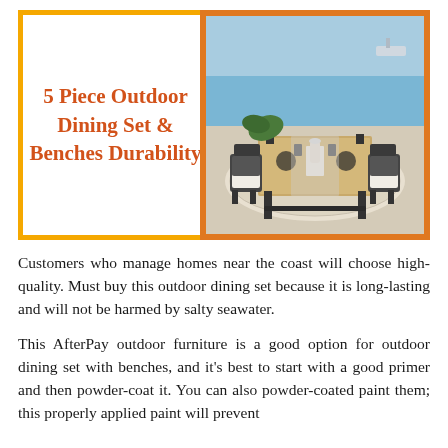5 Piece Outdoor Dining Set & Benches Durability
[Figure (photo): Outdoor dining set with dark metal chairs with white cushions around a wood-top table, set on a patterned rug near the ocean. Green tropical leaves visible in background.]
Customers who manage homes near the coast will choose high-quality. Must buy this outdoor dining set because it is long-lasting and will not be harmed by salty seawater.
This AfterPay outdoor furniture is a good option for outdoor dining set with benches, and it's best to start with a good primer and then powder-coat it. You can also powder-coated paint them; this properly applied paint will prevent